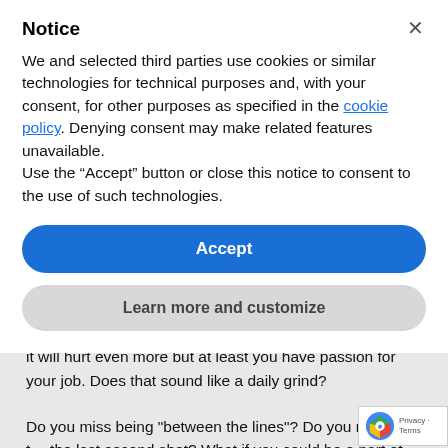Notice
We and selected third parties use cookies or similar technologies for technical purposes and, with your consent, for other purposes as specified in the cookie policy. Denying consent may make related features unavailable.
Use the “Accept” button or close this notice to consent to the use of such technologies.
Accept
Learn more and customize
If you work for the team on the losing end of the big game it will hurt even more but at least you have passion for your job. Does that sound like a daily grind?
Do you miss being "between the lines"? Do you miss the t... the last second shot? What if you could be a part of the group